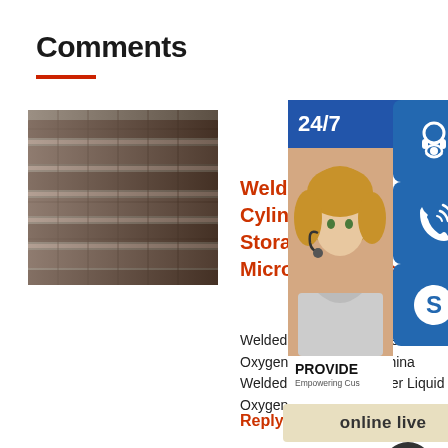Comments
[Figure (photo): Steel H-beams stacked in a warehouse]
Welded Insulated Cylinders Liquid Storage Tanks Microbulk Tanks
Welded Insulated Cylinder Liquid Oxygen Storage Tank China Welded Insulated Cylinder Liquid Oxygen ...
Reply
[Figure (infographic): 24/7 support overlay with agent photo, headset icon, phone icon, Skype icon, online live button]